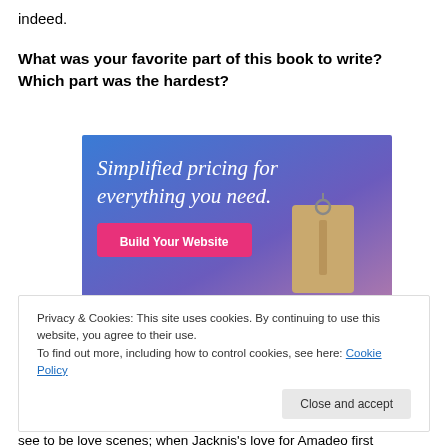indeed.
What was your favorite part of this book to write? Which part was the hardest?
[Figure (screenshot): Advertisement banner with blue-to-purple gradient background showing text 'Simplified pricing for everything you need.' with a pink 'Build Your Website' button and a tan price tag illustration on the right.]
Privacy & Cookies: This site uses cookies. By continuing to use this website, you agree to their use.
To find out more, including how to control cookies, see here: Cookie Policy
Close and accept
see to be love scenes; when Jacknis's love for Amadeo first